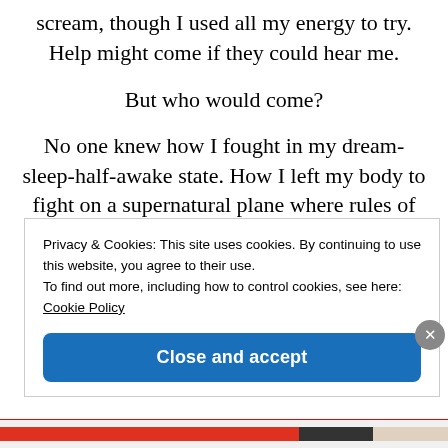scream, though I used all my energy to try. Help might come if they could hear me.
But who would come?
No one knew how I fought in my dream-sleep-half-awake state. How I left my body to fight on a supernatural plane where rules of gravity didn't
Privacy & Cookies: This site uses cookies. By continuing to use this website, you agree to their use.
To find out more, including how to control cookies, see here: Cookie Policy

Close and accept